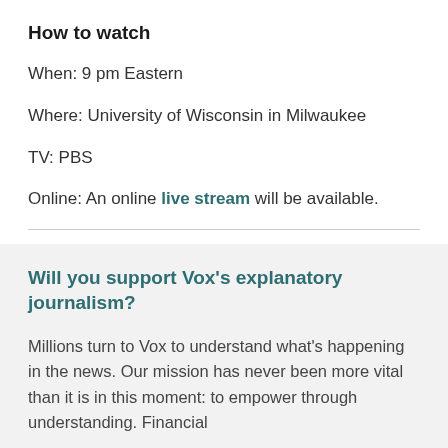How to watch
When: 9 pm Eastern
Where: University of Wisconsin in Milwaukee
TV: PBS
Online: An online live stream will be available.
Will you support Vox's explanatory journalism?
Millions turn to Vox to understand what’s happening in the news. Our mission has never been more vital than it is in this moment: to empower through understanding. Financial